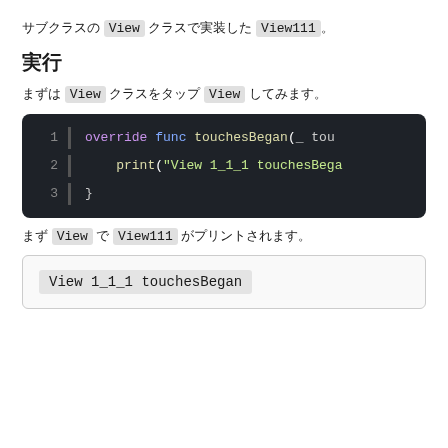サブクラスの View クラスで実装した View111。
実行
まずは View クラスをタップ View してみます。
[Figure (screenshot): Code block showing Swift override func touchesBegan and print statement for View 1_1_1]
まず View で View111 がプリントされます。
[Figure (screenshot): Console output showing: View 1_1_1 touchesBegan]